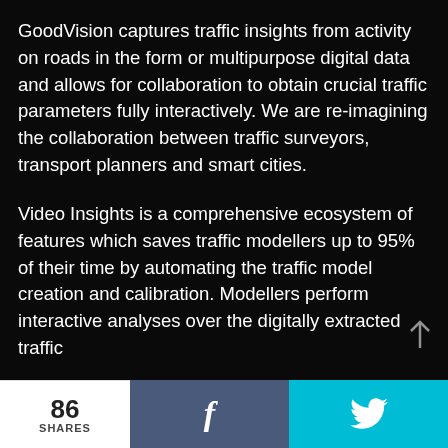GoodVision captures traffic insights from activity on roads in the form or multipurpose digital data and allows for collaboration to obtain crucial traffic parameters fully interactively. We are re-imagining the collaboration between traffic surveyors, transport planners and smart cities.
Video Insights is a comprehensive ecosystem of features which saves traffic modellers up to 95% of their time by automating the traffic model creation and calibration. Modellers perform interactive analyses over the digitally extracted traffic
86 SHARES  f  🐦